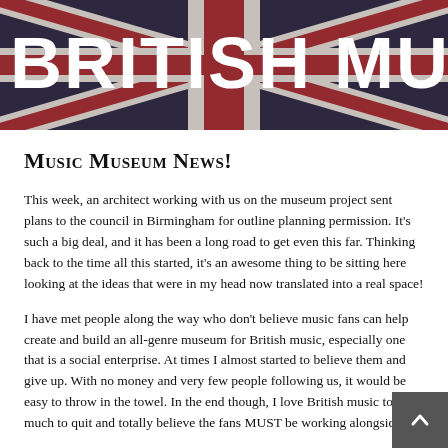[Figure (photo): Union Jack flag banner with 'BRITISH MUSIC' text overlaid in bold white capital letters]
Music Museum News!
This week, an architect working with us on the museum project sent plans to the council in Birmingham for outline planning permission. It's such a big deal, and it has been a long road to get even this far. Thinking back to the time all this started, it's an awesome thing to be sitting here looking at the ideas that were in my head now translated into a real space!
I have met people along the way who don't believe music fans can help create and build an all-genre museum for British music, especially one that is a social enterprise. At times I almost started to believe them and give up. With no money and very few people following us, it would be easy to throw in the towel. In the end though, I love British music too much to quit and totally believe the fans MUST be working alongside the